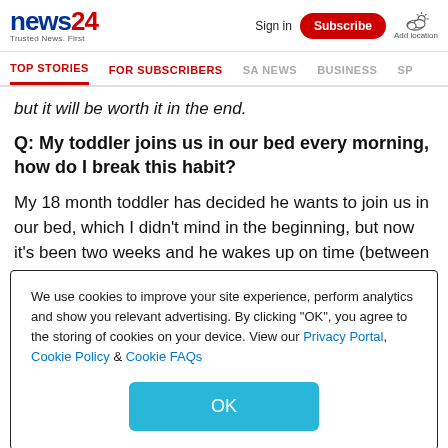news24 Trusted News. First
Sign in | Subscribe | Add location
TOP STORIES | FOR SUBSCRIBERS | SA NEWS | BUSINESS | SP
but it will be worth it in the end.
Q: My toddler joins us in our bed every morning, how do I break this habit?
My 18 month toddler has decided he wants to join us in our bed, which I didn't mind in the beginning, but now it's been two weeks and he wakes up on time (between 12 and 1am)
We use cookies to improve your site experience, perform analytics and show you relevant advertising. By clicking "OK", you agree to the storing of cookies on your device. View our Privacy Portal, Cookie Policy & Cookie FAQs
OK